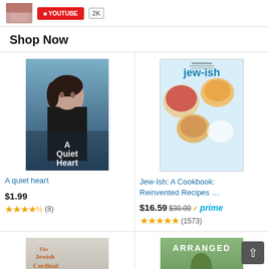[Figure (screenshot): Top bar with book thumbnail, red button, and number badge]
Shop Now
[Figure (photo): Book cover: A Quiet Heart - woman in black facing forward against winter background]
A quiet heart
$1.99
★★★★½ (8)
[Figure (photo): Book cover: Jew-Ish A Cookbook: Reinvented Recipes - food bowls on blue background with jew-ish text]
Jew-Ish: A Cookbook: Reinvented Recipes …
$16.59 $30.00 ✓prime
★★★★★ (1573)
[Figure (photo): Book cover: The Jewish Cardinal - man in black clerical garb standing on train tracks]
The Jewish Cardinal
[Figure (photo): Book cover: Arranged - two women facing each other outdoors]
Arranged